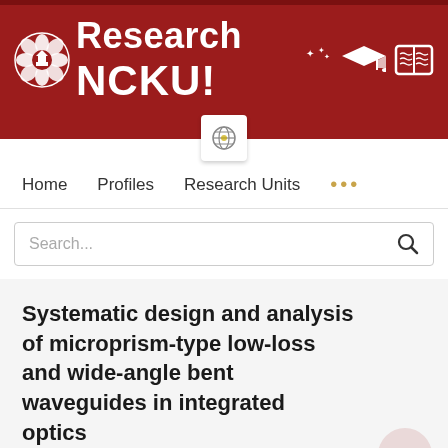[Figure (logo): Research NCKU! university portal header banner with logo, graduation cap and book icons on dark red background]
Home   Profiles   Research Units   ...
Search...
Systematic design and analysis of microprism-type low-loss and wide-angle bent waveguides in integrated optics
Ching Ting M. Lee